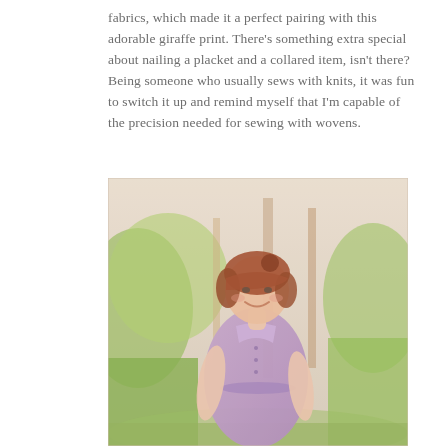fabrics, which made it a perfect pairing with this adorable giraffe print. There's something extra special about nailing a placket and a collared item, isn't there? Being someone who usually sews with knits, it was fun to switch it up and remind myself that I'm capable of the precision needed for sewing with wovens.
[Figure (photo): A smiling woman with auburn hair and bangs wearing a purple sleeveless collared shirt dress with giraffe print, standing outdoors among trees with green foliage in a bright spring setting.]